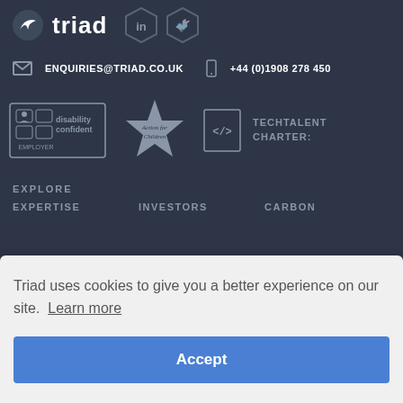[Figure (logo): Triad company logo with white bird icon and 'triad' text in white, followed by LinkedIn and Twitter social media hexagonal icons in grey]
ENQUIRIES@TRIAD.CO.UK  +44 (0)1908 278 450
[Figure (logo): Three certification badges: Disability Confident Employer logo, Action for Children star logo, and TechTalent Charter logo]
EXPLORE
EXPERTISE   INVESTORS   CARBON
Triad uses cookies to give you a better experience on our site. Learn more
Accept